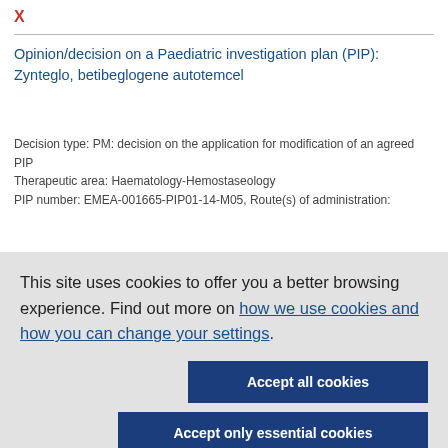X
Opinion/decision on a Paediatric investigation plan (PIP): Zynteglo, betibeglogene autotemcel
Decision type: PM: decision on the application for modification of an agreed PIP
Therapeutic area: Haematology-Hemostaseology
PIP number: EMEA-001665-PIP01-14-M05, Route(s) of administration:
This site uses cookies to offer you a better browsing experience. Find out more on how we use cookies and how you can change your settings.
Accept all cookies
Accept only essential cookies